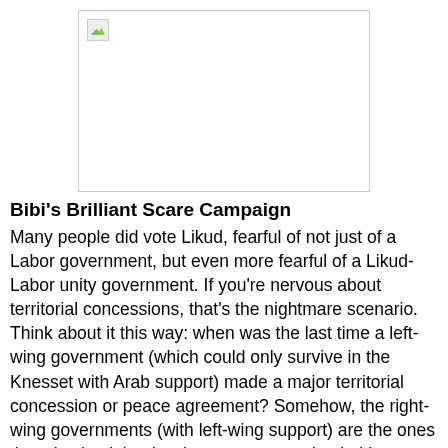[Figure (photo): Broken/missing image placeholder with a small landscape icon in the top-left corner, displayed as a white rectangle with a thin border.]
Bibi's Brilliant Scare Campaign
Many people did vote Likud, fearful of not just of a Labor government, but even more fearful of a Likud-Labor unity government. If you're nervous about territorial concessions, that's the nightmare scenario. Think about it this way: when was the last time a left-wing government (which could only survive in the Knesset with Arab support) made a major territorial concession or peace agreement? Somehow, the right-wing governments (with left-wing support) are the ones that give back land we've never gotten back. It's a good bet that Netanyahu wanted the right wing to fear that he would do exactly that, hoping to scare people into voting for him. It worked, pretty well.
Alienating Your Base